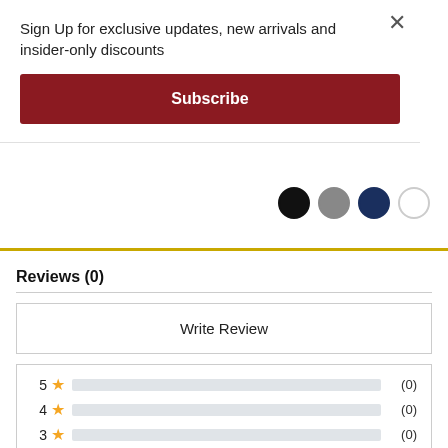Sign Up for exclusive updates, new arrivals and insider-only discounts
Subscribe
[Figure (other): Four color swatches: black, gray, navy, white]
Reviews (0)
Write Review
[Figure (bar-chart): Star rating distribution]